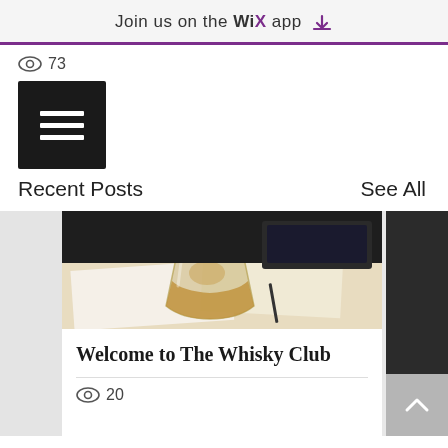Join us on the WiX app ↓
👁 73
[Figure (other): Hamburger menu button, black square with three white horizontal bars]
Recent Posts    See All
[Figure (photo): A whisky glass on a desk with papers and a pen, warm tones]
Welcome to The Whisky Club
👁 20